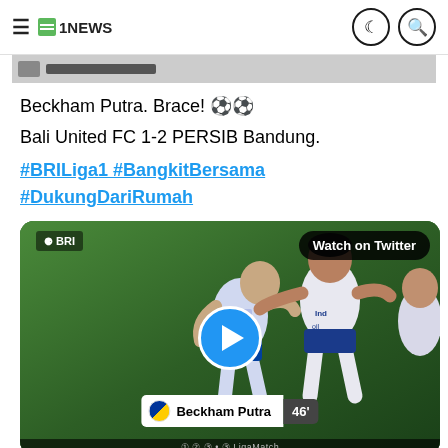1NEWS
Beckham Putra. Brace! ⚽⚽
Bali United FC 1-2 PERSIB Bandung.
#BRILiga1 #BangkitBersama #DukungDariRumah
[Figure (screenshot): Video thumbnail of football match celebration with BRI logo, Watch on Twitter button, play button, and score overlay showing Beckham Putra 46']